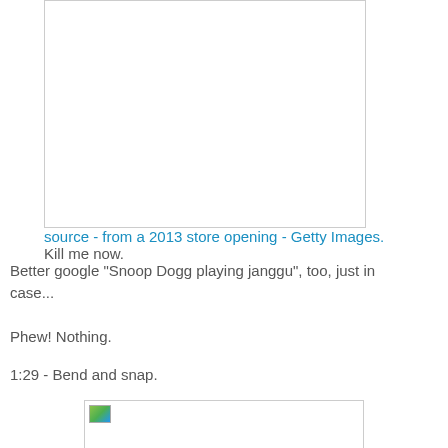[Figure (photo): A white/blank image box with border, partially visible at top of page]
source - from a 2013 store opening - Getty Images. Kill me now.
Better google "Snoop Dogg playing janggu", too, just in case...
Phew! Nothing.
1:29 - Bend and snap.
[Figure (photo): A blank/white image box with border, partially visible at bottom of page]